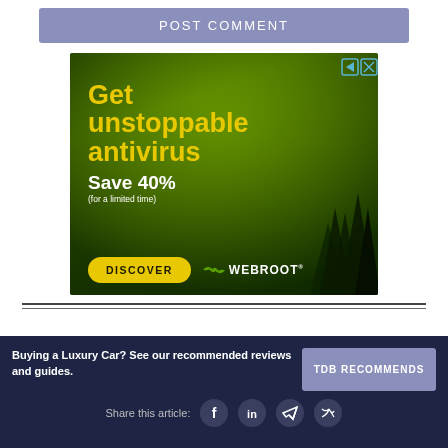POST COMMENT
[Figure (advertisement): Webroot antivirus ad with dark green forest background. Yellow headline text: 'Get unstoppable antivirus'. White text: 'Save 40% (for a limited time)'. Yellow DISCOVER button and Webroot logo at bottom.]
Buying a Luxury Car? See our recommended reviews and guides.
TDB RECOMMENDS
Share this article: